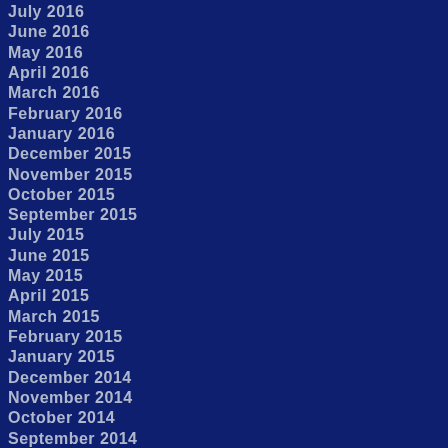July 2016
June 2016
May 2016
April 2016
March 2016
February 2016
January 2016
December 2015
November 2015
October 2015
September 2015
July 2015
June 2015
May 2015
April 2015
March 2015
February 2015
January 2015
December 2014
November 2014
October 2014
September 2014
August 2014
July 2014
June 2014